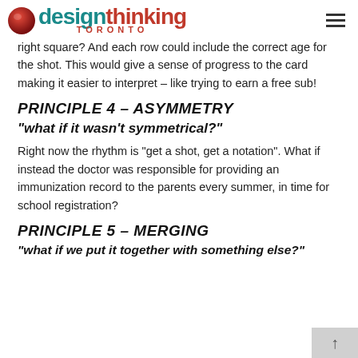design thinking TORONTO
right square? And each row could include the correct age for the shot. This would give a sense of progress to the card making it easier to interpret – like trying to earn a free sub!
PRINCIPLE 4 – ASYMMETRY
“what if it wasn’t symmetrical?”
Right now the rhythm is “get a shot, get a notation”. What if instead the doctor was responsible for providing an immunization record to the parents every summer, in time for school registration?
PRINCIPLE 5 – MERGING
“what if we put it together with something else?”